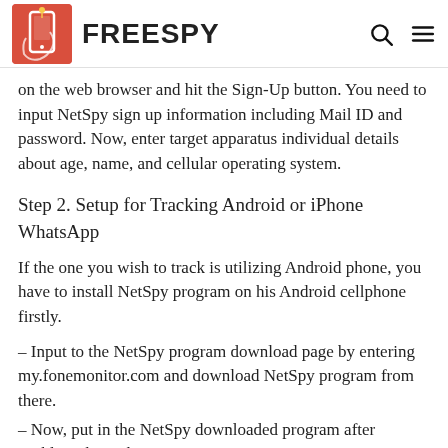FREESPY
on the web browser and hit the Sign-Up button. You need to input NetSpy sign up information including Mail ID and password. Now, enter target apparatus individual details about age, name, and cellular operating system.
Step 2. Setup for Tracking Android or iPhone WhatsApp
If the one you wish to track is utilizing Android phone, you have to install NetSpy program on his Android cellphone firstly.
– Input to the NetSpy program download page by entering my.fonemonitor.com and download NetSpy program from there.
– Now, put in the NetSpy downloaded program after enabling the Unknown sources.